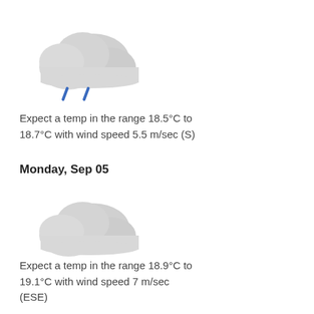[Figure (illustration): Gray cloud icon with two blue rain drops below it]
Expect a temp in the range 18.5°C to 18.7°C with wind speed 5.5 m/sec (S)
Monday, Sep 05
[Figure (illustration): Gray cloud icon (no rain drops)]
Expect a temp in the range 18.9°C to 19.1°C with wind speed 7 m/sec (ESE)